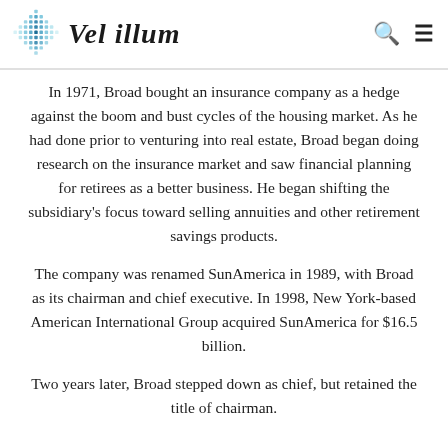Vel illum
In 1971, Broad bought an insurance company as a hedge against the boom and bust cycles of the housing market. As he had done prior to venturing into real estate, Broad began doing research on the insurance market and saw financial planning for retirees as a better business. He began shifting the subsidiary's focus toward selling annuities and other retirement savings products.
The company was renamed SunAmerica in 1989, with Broad as its chairman and chief executive. In 1998, New York-based American International Group acquired SunAmerica for $16.5 billion.
Two years later, Broad stepped down as chief, but retained the title of chairman.